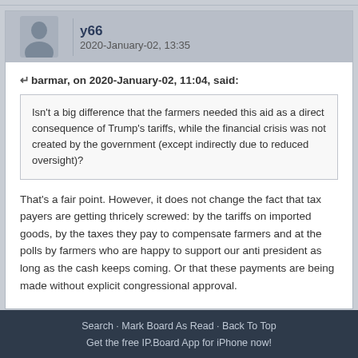y66
2020-January-02, 13:35
barmar, on 2020-January-02, 11:04, said:
Isn't a big difference that the farmers needed this aid as a direct consequence of Trump's tariffs, while the financial crisis was not created by the government (except indirectly due to reduced oversight)?
That's a fair point. However, it does not change the fact that tax payers are getting thricely screwed: by the tariffs on imported goods, by the taxes they pay to compensate farmers and at the polls by farmers who are happy to support our anti president as long as the cash keeps coming. Or that these payments are being made without explicit congressional approval.
« Prev   Next »
Search · Mark Board As Read · Back To Top
Get the free IP.Board App for iPhone now!